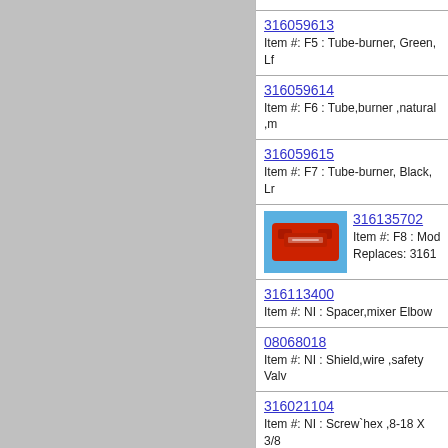316059613
Item #: F5 : Tube-burner, Green, Lf
316059614
Item #: F6 : Tube,burner ,natural ,m
316059615
Item #: F7 : Tube-burner, Black, Lr
[Figure (photo): Red module component part photo on blue background]
316135702
Item #: F8 : Mod
Replaces: 3161
316113400
Item #: NI : Spacer,mixer Elbow
08068018
Item #: NI : Shield,wire ,safety Valv
316021104
Item #: NI : Screw`hex ,8-18 X 3/8
`regulator Brkt
5303289034
Item #: NI : Wiring Harness, Module
316048200
Item #: NI : Screw,hex Washer Hea
0.31 ,valve Mounting,w/gasket